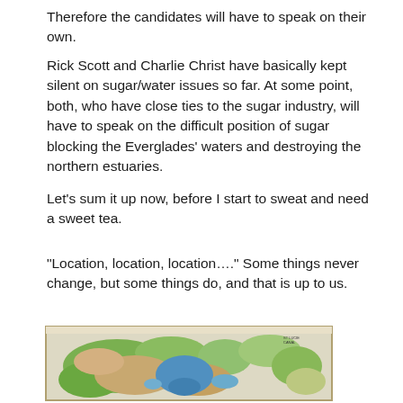Therefore the candidates will have to speak on their own.
Rick Scott and Charlie Christ have basically kept silent on sugar/water issues so far. At some point, both, who have close ties to the sugar industry, will have to speak on the difficult position of sugar blocking the Everglades' waters and destroying the northern estuaries.
Let's sum it up now, before I start to sweat and need a sweet tea.
“Location, location, location….” Some things never change, but some things do, and that is up to us.
[Figure (map): A topographic/geographic map of Florida showing the Everglades region with green vegetation areas, blue water body in the center, and surrounding terrain in brown and tan colors, framed with a light border.]